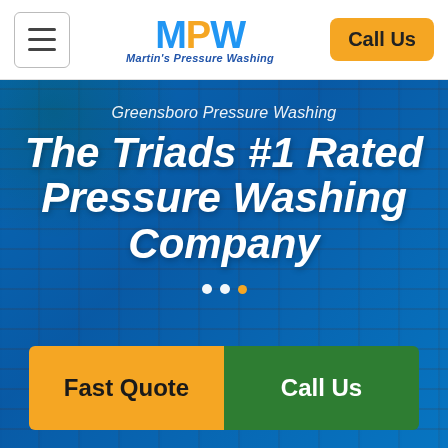[Figure (logo): MPW Martin's Pressure Washing logo with stylized blue and gold letters]
Call Us
[Figure (photo): Hero background photo of a person pressure washing a brick building, overlaid with a blue tint]
Greensboro Pressure Washing
The Triads #1 Rated Pressure Washing Company
Fast Quote
Call Us